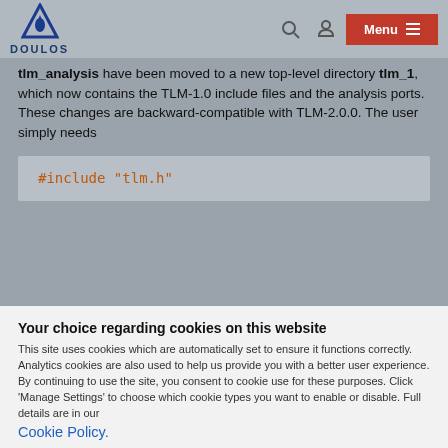[Figure (logo): Doulos logo - blue triangle with water drop symbol, text DOULOS below]
tlm_analysis have been moved to a new top-level directory tlm_1, which now contains the TLM-1.0 include files and the analysis ports. These changes are backward-compatible with TLM-2.0.0. The user simply needs
Your choice regarding cookies on this website
This site uses cookies which are automatically set to ensure it functions correctly. Analytics cookies are also used to help us provide you with a better user experience.
By continuing to use the site, you consent to cookie use for these purposes. Click 'Manage Settings' to choose which cookie types you want to enable or disable. Full details are in our Cookie Policy.
Accept
Manage Settings